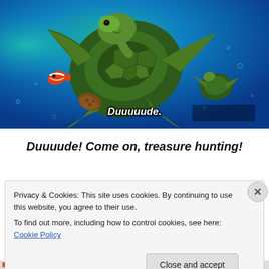[Figure (photo): Animated sea turtle (from Finding Nemo/Dory) swimming underwater in blue-green ocean water, with a small clownfish visible to the left and a smaller turtle in the background. Subtitle text 'Duuuuude.' overlaid at bottom center of image.]
Duuuude! Come on, treasure hunting!
Privacy & Cookies: This site uses cookies. By continuing to use this website, you agree to their use.
To find out more, including how to control cookies, see here: Cookie Policy
Close and accept